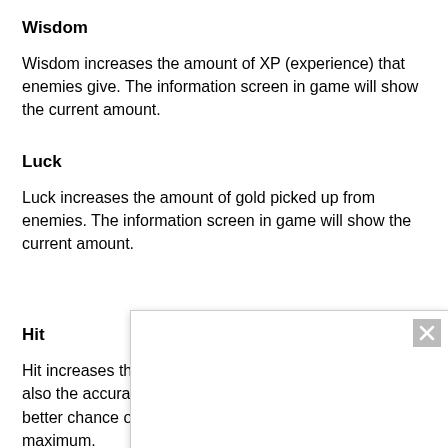Wisdom
Wisdom increases the amount of XP (experience) that enemies give. The information screen in game will show the current amount.
Luck
Luck increases the amount of gold picked up from enemies. The information screen in game will show the current amount.
Hit
Hit increases th[e chance to hit enemies. Hit will also the accura[cy of spells. A higher Hit gives a better chance o[f landing more of your spells hit maximum.
[Figure (screenshot): Popup overlay window with a close button (X) in the top right corner, a play button and a mute/speaker button in the bottom left area.]